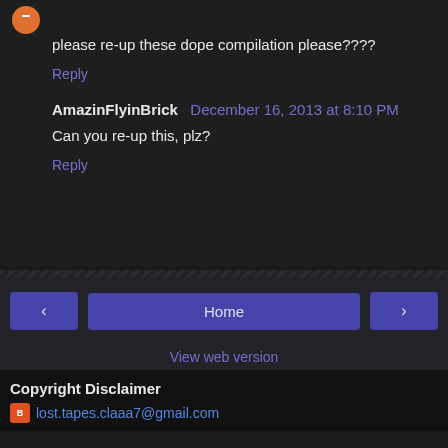please re-up these dope compilation please????
Reply
AmazinFlyinBrick December 16, 2013 at 8:10 PM
Can you re-up this, plz?
Reply
Home
View web version
Copyright Disclaimer
lost.tapes.claaa7@gmail.com